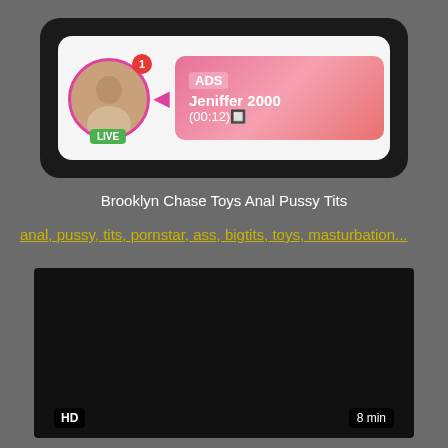[Figure (screenshot): Ad banner with live avatar, ADS label, Jeniffer 2000 name, (00:12) timer, LIVE badge, HD badge, 6 min badge]
Brooklyn Chase Toys Anal Pussy Tits
anal, pussy, tits, pornstar, ass, bigtits, toys, masturbation...
[Figure (screenshot): Black video thumbnail with HD badge and 8 min badge]